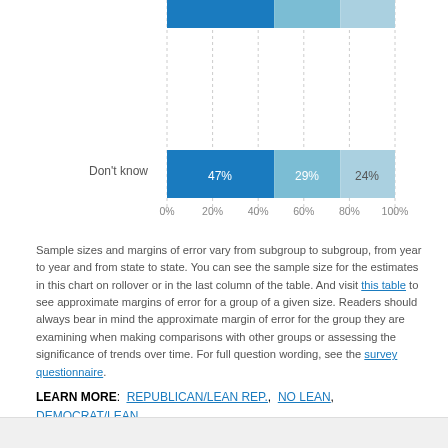[Figure (stacked-bar-chart): Don't know]
Sample sizes and margins of error vary from subgroup to subgroup, from year to year and from state to state. You can see the sample size for the estimates in this chart on rollover or in the last column of the table. And visit this table to see approximate margins of error for a group of a given size. Readers should always bear in mind the approximate margin of error for the group they are examining when making comparisons with other groups or assessing the significance of trends over time. For full question wording, see the survey questionnaire.
LEARN MORE: REPUBLICAN/LEAN REP., NO LEAN, DEMOCRAT/LEAN DEM.